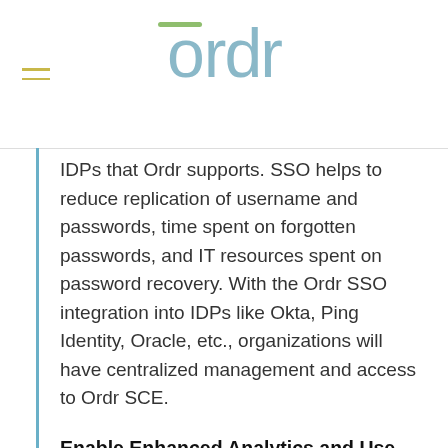ordr
IDPs that Ordr supports. SSO helps to reduce replication of username and passwords, time spent on forgotten passwords, and IT resources spent on password recovery. With the Ordr SSO integration into IDPs like Okta, Ping Identity, Oracle, etc., organizations will have centralized management and access to Ordr SCE.
Enable Enhanced Analytics and Use Case Based Policy Generation
Ordr SCE 7.4.2 will enable organizations to use flexible grouping of devices to map actions such as communication analysis, policy generation, or